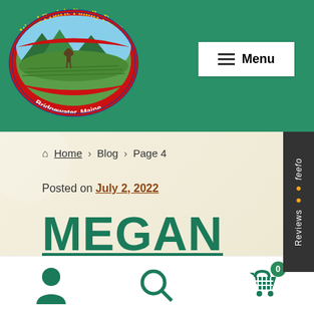[Figure (logo): Wood Prairie Family Farm logo - oval with farm scene, moose, pond, fields. Text 'Wood Prairie Family Farm' top, 'Bridgewater, Maine' bottom on red band.]
Menu
Home › Blog › Page 4
Posted on July 2, 2022
MEGAN TRANSPLANTING POTATO